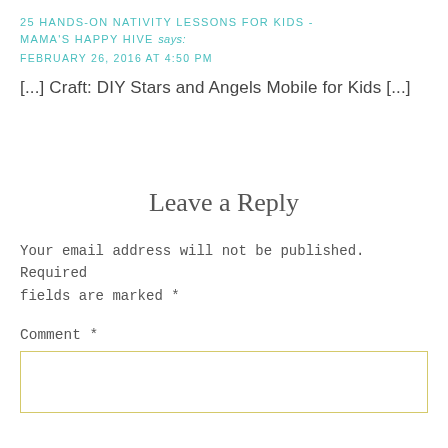25 HANDS-ON NATIVITY LESSONS FOR KIDS - MAMA'S HAPPY HIVE says:
FEBRUARY 26, 2016 AT 4:50 PM
[...] Craft: DIY Stars and Angels Mobile for Kids [...]
Leave a Reply
Your email address will not be published. Required fields are marked *
Comment *